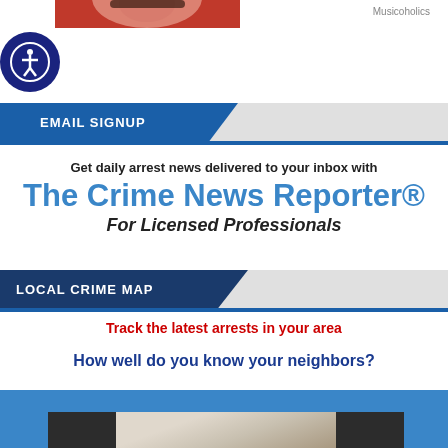[Figure (photo): Partial photo strip at top, red-toned image of a person]
Musicoholics
EMAIL SIGNUP
Get daily arrest news delivered to your inbox with
The Crime News Reporter®
For Licensed Professionals
LOCAL CRIME MAP
Track the latest arrests in your area
How well do you know your neighbors?
Find A Lawyer
[Figure (photo): Partial photo of a person in dark clothing, lawyer advertisement image]